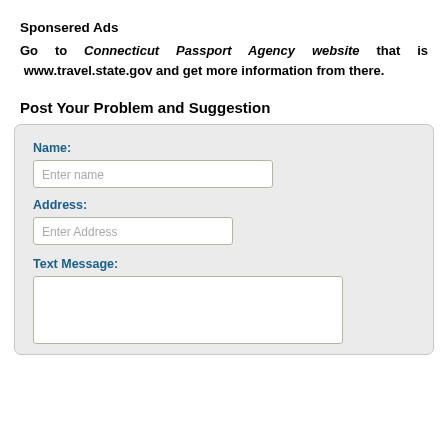Sponsered Ads
Go to Connecticut Passport Agency website that is www.travel.state.gov and get more information from there.
Post Your Problem and Suggestion
[Figure (other): A web form with fields: Name (text input with placeholder 'Enter name'), Address (text input with placeholder 'Enter Address'), and Text Message (textarea).]